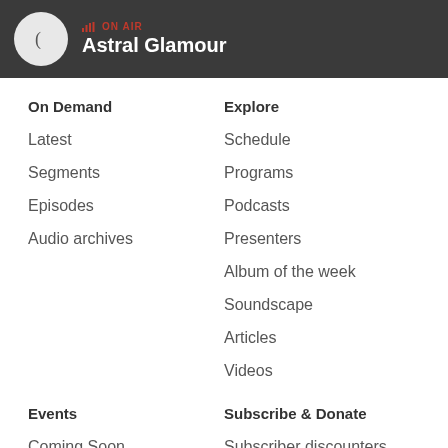ON AIR — Astral Glamour
On Demand
Latest
Segments
Episodes
Audio archives
Explore
Schedule
Programs
Podcasts
Presenters
Album of the week
Soundscape
Articles
Videos
Events
Coming Soon
RRR Events
Subscribe & Donate
Subscriber discounters
Subscriber giveaways